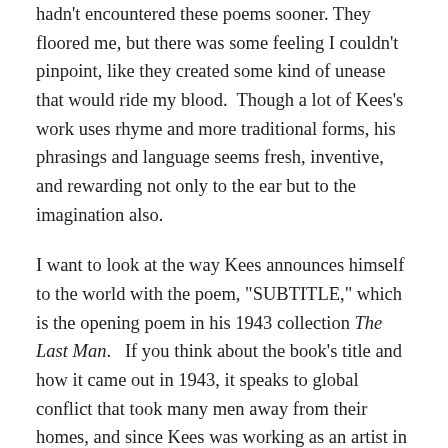hadn't encountered these poems sooner. They floored me, but there was some feeling I couldn't pinpoint, like they created some kind of unease that would ride my blood.  Though a lot of Kees's work uses rhyme and more traditional forms, his phrasings and language seems fresh, inventive, and rewarding not only to the ear but to the imagination also.
I want to look at the way Kees announces himself to the world with the poem, "SUBTITLE," which is the opening poem in his 1943 collection The Last Man.   If you think about the book's title and how it came out in 1943, it speaks to global conflict that took many men away from their homes, and since Kees was working as an artist in the U.S. at the time, in some ways the title fits him.  However, the opening of the first poem breaks away from this singular man, establishing a plural first person